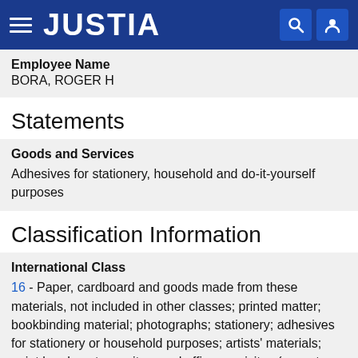JUSTIA
Employee Name
BORA, ROGER H
Statements
Goods and Services
Adhesives for stationery, household and do-it-yourself purposes
Classification Information
International Class
16 - Paper, cardboard and goods made from these materials, not included in other classes; printed matter; bookbinding material; photographs; stationery; adhesives for stationery or household purposes; artists' materials; paint brushes; typewriters and office requisites (except furniture); instructional and teaching